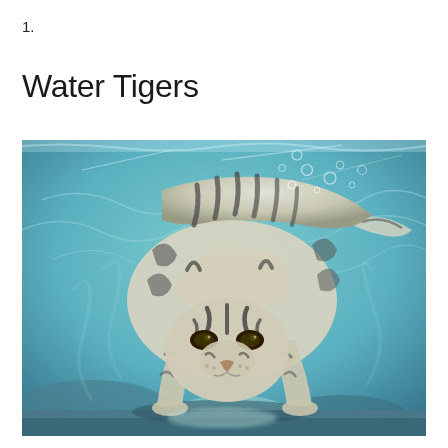1.
Water Tigers
[Figure (photo): A white tiger swimming underwater, viewed from slightly above and in front. The tiger is lunging forward with paws outstretched, surrounded by blue-green water with light reflections and bubbles on the surface above.]